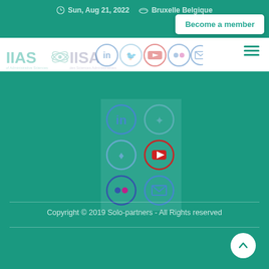Sun, Aug 21, 2022  Bruxelle Belgique
[Figure (screenshot): IIAS/IISA organization logo with navigation bar including hamburger menu and social icons]
Become a member
[Figure (infographic): Social media icons grid: LinkedIn, Twitter (faded top row) and LinkedIn, Twitter, YouTube, Flickr, Email arranged in a 2-column grid on teal background]
Copyright © 2019 Solo-partners - All Rights Reserved